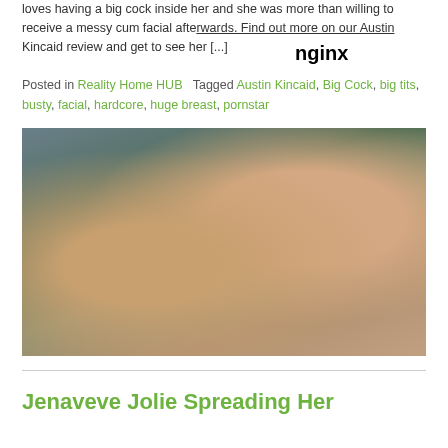loves having a big cock inside her and she was more than willing to receive a messy cum facial afterwards. Find out more on our Austin Kincaid review and get to see her [...]
nginx
Posted in Reality Home HUB   Tagged Austin Kincaid, Big Cock, big tits, busty, facial, hardcore, huge breast, pornstar
[Figure (photo): Adult content photo showing two people on a sofa/couch]
Jenaveve Jolie Spreading Her